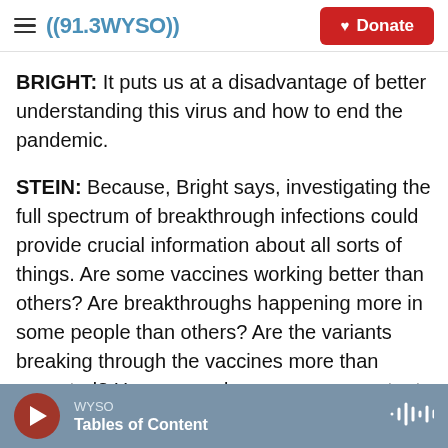((91.3 WYSO)) | Donate
BRIGHT: It puts us at a disadvantage of better understanding this virus and how to end the pandemic.
STEIN: Because, Bright says, investigating the full spectrum of breakthrough infections could provide crucial information about all sorts of things. Are some vaccines working better than others? Are breakthroughs happening more in some people than others? Are the variants breaking through the vaccines more than expected? Have more dangerous new mutants evolved?
WYSO | Tables of Content